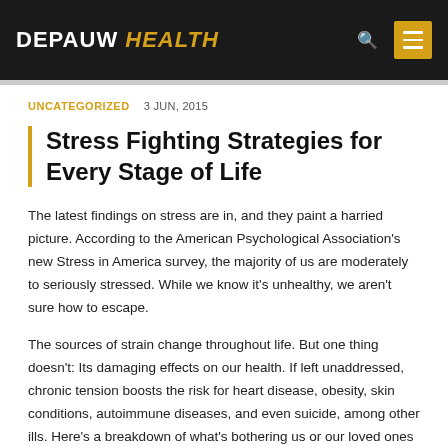DEPAUW HEALTH
UNCATEGORIZED   3 JUN, 2015
Stress Fighting Strategies for Every Stage of Life
The latest findings on stress are in, and they paint a harried picture. According to the American Psychological Association's new Stress in America survey, the majority of us are moderately to seriously stressed. While we know it's unhealthy, we aren't sure how to escape.
The sources of strain change throughout life. But one thing doesn't: Its damaging effects on our health. If left unaddressed, chronic tension boosts the risk for heart disease, obesity, skin conditions, autoimmune diseases, and even suicide, among other ills. Here's a breakdown of what's bothering us or our loved ones at different life stages, and what we can do